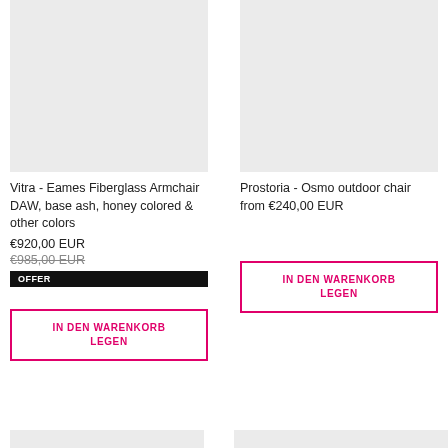[Figure (photo): Product image placeholder for Vitra - Eames Fiberglass Armchair DAW (light gray background)]
Vitra - Eames Fiberglass Armchair DAW, base ash, honey colored & other colors
€920,00 EUR
€985,00 EUR (strikethrough)
OFFER
IN DEN WARENKORB LEGEN
[Figure (photo): Product image placeholder for Prostoria - Osmo outdoor chair (light gray background)]
Prostoria - Osmo outdoor chair from €240,00 EUR
IN DEN WARENKORB LEGEN